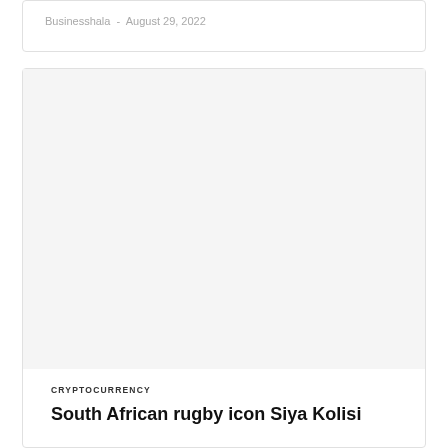Businesshala  -  August 29, 2022
[Figure (photo): Large image placeholder area inside a card with rounded border]
CRYPTOCURRENCY
South African rugby icon Siya Kolisi